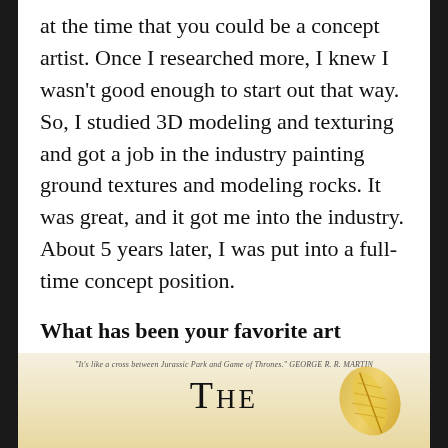at the time that you could be a concept artist. Once I researched more, I knew I wasn't good enough to start out that way. So, I studied 3D modeling and texturing and got a job in the industry painting ground textures and modeling rocks. It was great, and it got me into the industry. About 5 years later, I was put into a full-time concept position.
What has been your favorite art project so far? What was it? What did you love about it?
[Figure (photo): Bottom portion of a book cover showing a tagline quote and the beginning of the title 'THE' with decorative golden feather/wing element on the right side, against a warm parchment-colored background.]